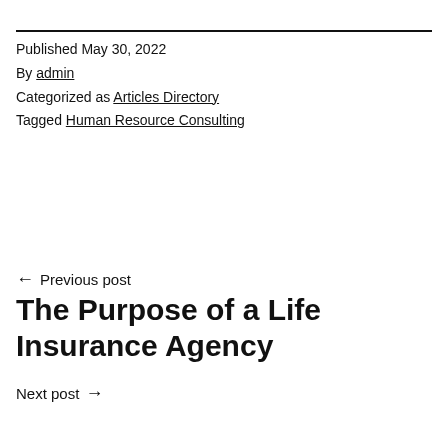Published May 30, 2022
By admin
Categorized as Articles Directory
Tagged Human Resource Consulting
← Previous post
The Purpose of a Life Insurance Agency
Next post →